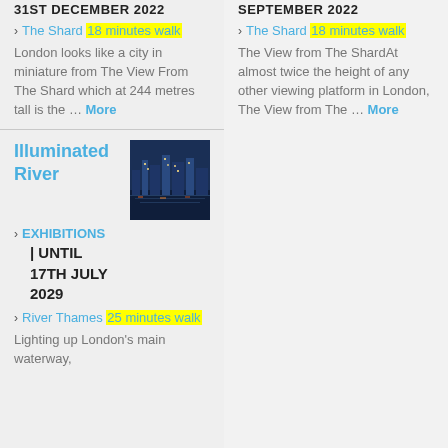31ST DECEMBER 2022
› The Shard  18 minutes walk
London looks like a city in miniature from The View From The Shard which at 244 metres tall is the … More
SEPTEMBER 2022
› The Shard  18 minutes walk
The View from The ShardAt almost twice the height of any other viewing platform in London, The View from The … More
Illuminated River
[Figure (photo): Night cityscape photo showing illuminated city buildings reflected in the River Thames]
› EXHIBITIONS
| UNTIL 17TH JULY 2029
› River Thames  25 minutes walk
Lighting up London's main waterway,